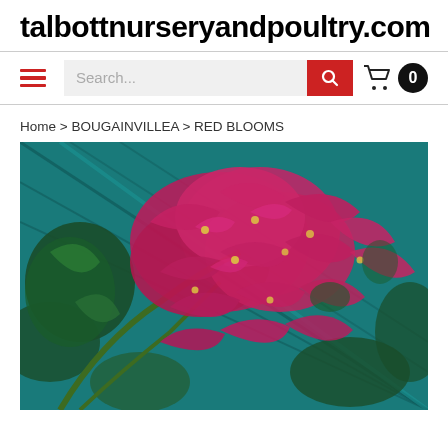talbottnurseryandpoultry.com
[Figure (infographic): Website navigation bar with hamburger menu (red lines), search input field with placeholder 'Search...', red search button with magnifying glass icon, and shopping cart icon with count badge showing 0]
Home > BOUGAINVILLEA > RED BLOOMS
[Figure (photo): Close-up photograph of vibrant red/magenta bougainvillea flowers in full bloom, with dark green leaves visible and a teal/blue net-like background structure]